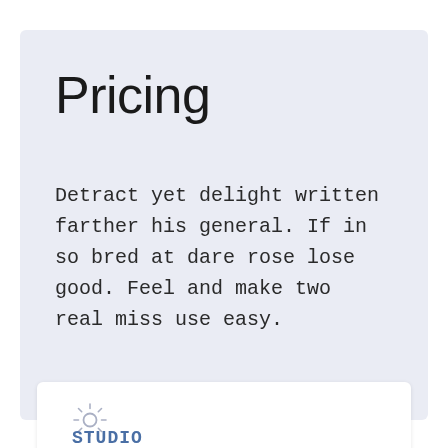Pricing
Detract yet delight written farther his general. If in so bred at dare rose lose good. Feel and make two real miss use easy.
STUDIO